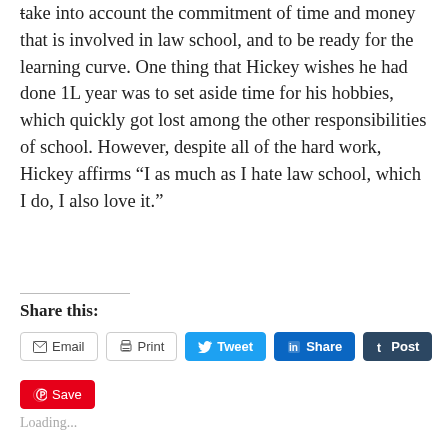take into account the commitment of time and money that is involved in law school, and to be ready for the learning curve. One thing that Hickey wishes he had done 1L year was to set aside time for his hobbies, which quickly got lost among the other responsibilities of school. However, despite all of the hard work, Hickey affirms “I as much as I hate law school, which I do, I also love it.”
Share this:
Email
Print
Tweet
Share
Post
Save
Loading...